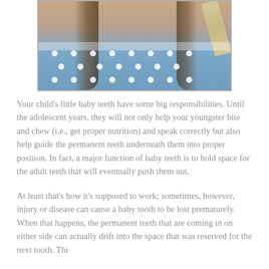[Figure (photo): Photo of a young girl with long brown hair wearing a blue and white polka-dot dress with a ribbon/bow strap, cropped to show from neck/shoulders down to torso.]
Your child's little baby teeth have some big responsibilities. Until the adolescent years, they will not only help your youngster bite and chew (i.e., get proper nutrition) and speak correctly but also help guide the permanent teeth underneath them into proper position. In fact, a major function of baby teeth is to hold space for the adult teeth that will eventually push them out.
At least that's how it's supposed to work; sometimes, however, injury or disease can cause a baby tooth to be lost prematurely. When that happens, the permanent teeth that are coming in on either side can actually drift into the space that was reserved for the next tooth. This